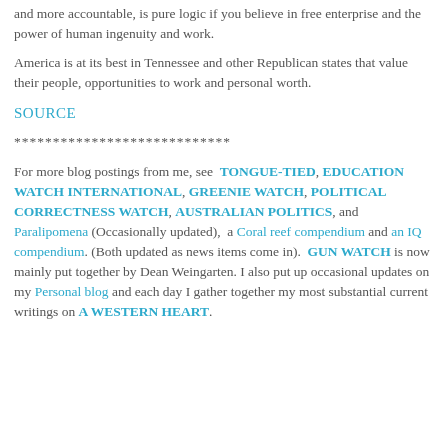and more accountable, is pure logic if you believe in free enterprise and the power of human ingenuity and work.
America is at its best in Tennessee and other Republican states that value their people, opportunities to work and personal worth.
SOURCE
****************************
For more blog postings from me, see TONGUE-TIED, EDUCATION WATCH INTERNATIONAL, GREENIE WATCH, POLITICAL CORRECTNESS WATCH, AUSTRALIAN POLITICS, and Paralipomena (Occasionally updated), a Coral reef compendium and an IQ compendium. (Both updated as news items come in). GUN WATCH is now mainly put together by Dean Weingarten. I also put up occasional updates on my Personal blog and each day I gather together my most substantial current writings on A WESTERN HEART.